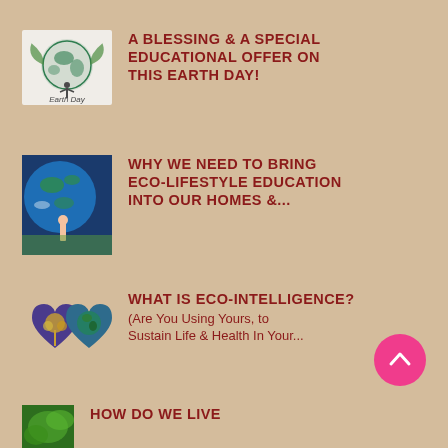[Figure (logo): Earth Day logo with globe and person silhouette]
A BLESSING & A SPECIAL EDUCATIONAL OFFER ON THIS EARTH DAY!
[Figure (photo): Person standing in front of large Earth globe image]
WHY WE NEED TO BRING ECO-LIFESTYLE EDUCATION INTO OUR HOMES &...
[Figure (illustration): Two heart-shaped earth/tree illustrations]
WHAT IS ECO-INTELLIGENCE?
(Are You Using Yours, to Sustain Life & Health In Your...
[Figure (photo): Green leaf/nature photo thumbnail]
HOW DO WE LIVE